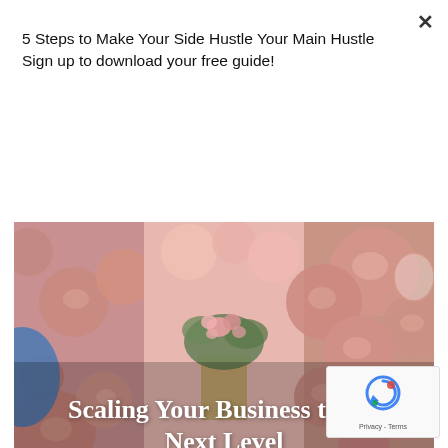5 Steps to Make Your Side Hustle Your Main Hustle Sign up to download your free guide!
Subscribe
[Figure (photo): Background photo of rose gold and pink balloons with flower arrangement in center. Text overlay reads: Scaling Your Business to the Next Level]
[Figure (other): reCAPTCHA badge with Privacy - Terms text]